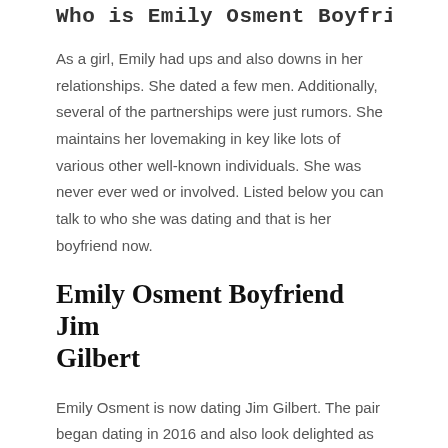Who is Emily Osment Boyfriend?
As a girl, Emily had ups and also downs in her relationships. She dated a few men. Additionally, several of the partnerships were just rumors. She maintains her lovemaking in key like lots of various other well-known individuals. She was never ever wed or involved. Listed below you can talk to who she was dating and that is her boyfriend now.
Emily Osment Boyfriend Jim Gilbert
Emily Osment is now dating Jim Gilbert. The pair began dating in 2016 and also look delighted as ever. Jim Gilbert is a therapist by career.